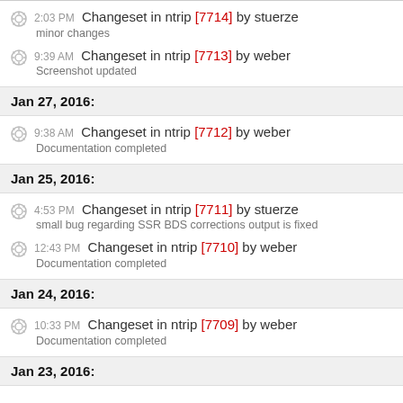2:03 PM Changeset in ntrip [7714] by stuerze
minor changes
9:39 AM Changeset in ntrip [7713] by weber
Screenshot updated
Jan 27, 2016:
9:38 AM Changeset in ntrip [7712] by weber
Documentation completed
Jan 25, 2016:
4:53 PM Changeset in ntrip [7711] by stuerze
small bug regarding SSR BDS corrections output is fixed
12:43 PM Changeset in ntrip [7710] by weber
Documentation completed
Jan 24, 2016:
10:33 PM Changeset in ntrip [7709] by weber
Documentation completed
Jan 23, 2016: